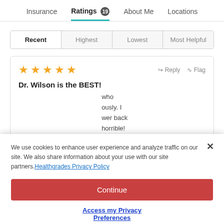Insurance | Ratings 19 | About Me | Locations
Recent
Highest
Lowest
Most Helpful
Dr. Wilson is the BEST!
...who ...ously. I ...wer back ...horrible! ...didn't
We use cookies to enhance user experience and analyze traffic on our site. We also share information about your use with our site partners. Healthgrades Privacy Policy
Continue
Access my Privacy Preferences